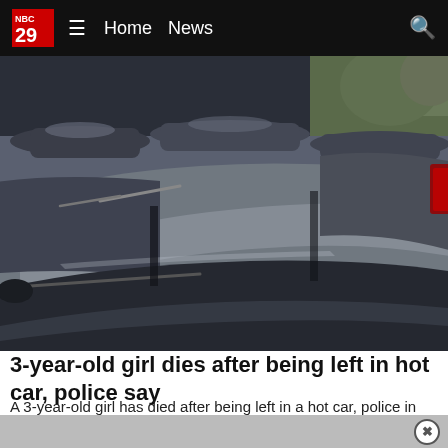NBC 29 | Home | News
[Figure (photo): Row of cars parked in a lot, viewed from a low angle showing roofs and windshields. Dark blue/grey tones.]
3-year-old girl dies after being left in hot car, police say
A 3-year-old girl has died after being left in a hot car, police in Missouri said.
NBC29